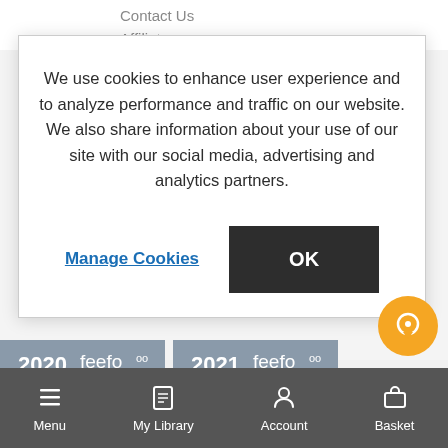Contact Us
Affiliates
We use cookies to enhance user experience and to analyze performance and traffic on our website. We also share information about your use of our site with our social media, advertising and analytics partners.
Manage Cookies
OK
[Figure (screenshot): Two Feefo award badges for 2020 and 2021]
[Figure (infographic): Orange circular chat/support button with speech bubble icon]
Menu | My Library | Account | Basket